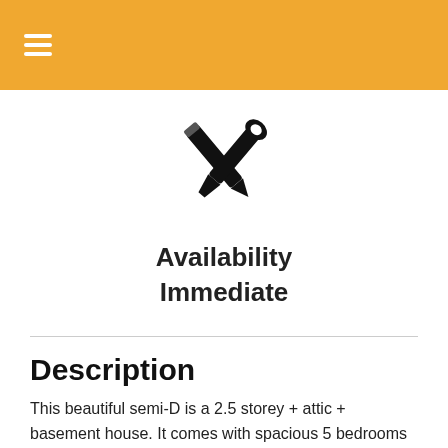Availability
Immediate
Description
This beautiful semi-D is a 2.5 storey + attic + basement house. It comes with spacious 5 bedrooms all en-suite, with in-ground pool and homeshelter.
Conveniently located near elite schools and within walking